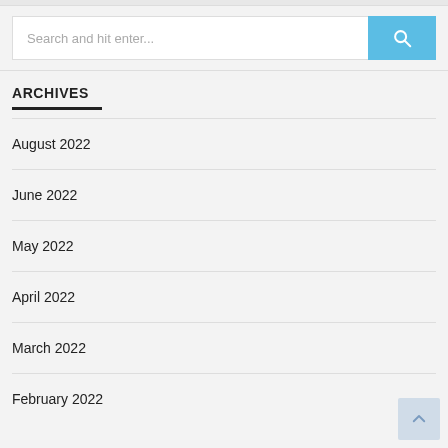Search and hit enter...
ARCHIVES
August 2022
June 2022
May 2022
April 2022
March 2022
February 2022